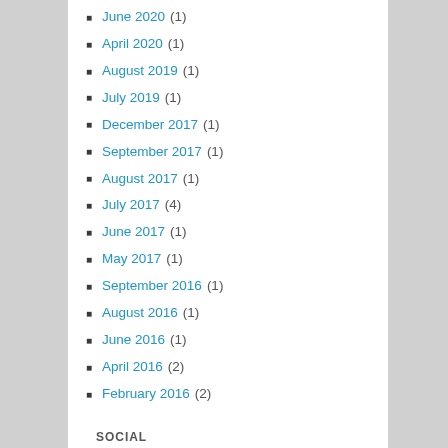June 2020 (1)
April 2020 (1)
August 2019 (1)
July 2019 (1)
December 2017 (1)
September 2017 (1)
August 2017 (1)
July 2017 (4)
June 2017 (1)
May 2017 (1)
September 2016 (1)
August 2016 (1)
June 2016 (1)
April 2016 (2)
February 2016 (2)
SOCIAL
[Figure (infographic): Social media icons: Facebook, Twitter, YouTube in blue]
SUBSCRIBENOW